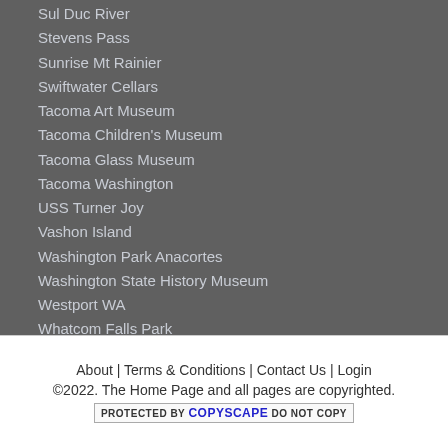Sul Duc River
Stevens Pass
Sunrise Mt Rainier
Swiftwater Cellars
Tacoma Art Museum
Tacoma Children's Museum
Tacoma Glass Museum
Tacoma Washington
USS Turner Joy
Vashon Island
Washington Park Anacortes
Washington State History Museum
Westport WA
Whatcom Falls Park
Whidbey Island
Wilderbee Farm
About | Terms & Conditions | Contact Us | Login
©2022. The Home Page and all pages are copyrighted.
PROTECTED BY COPYSCAPE DO NOT COPY